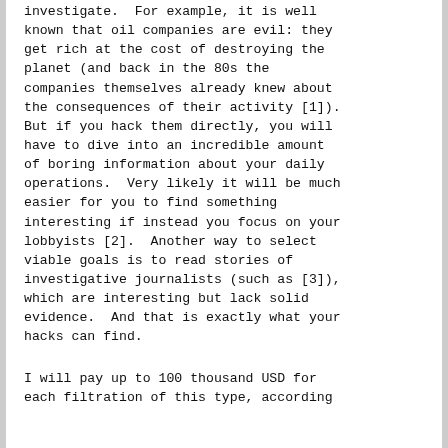investigate. For example, it is well known that oil companies are evil: they get rich at the cost of destroying the planet (and back in the 80s the companies themselves already knew about the consequences of their activity [1]). But if you hack them directly, you will have to dive into an incredible amount of boring information about your daily operations. Very likely it will be much easier for you to find something interesting if instead you focus on your lobbyists [2]. Another way to select viable goals is to read stories of investigative journalists (such as [3]), which are interesting but lack solid evidence. And that is exactly what your hacks can find.
I will pay up to 100 thousand USD for each filtration of this type, according